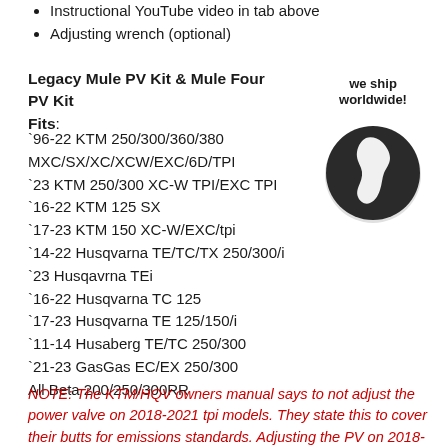Instructional YouTube video in tab above
Adjusting wrench (optional)
Legacy Mule PV Kit & Mule Four PV Kit
Fits:
`96-22 KTM 250/300/360/380 MXC/SX/XC/XCW/EXC/6D/TPI
`23 KTM 250/300 XC-W TPI/EXC TPI
`16-22 KTM 125 SX
`17-23 KTM 150 XC-W/EXC/tpi
`14-22 Husqvarna TE/TC/TX 250/300/i
`23 Husqavrna TEi
`16-22 Husqvarna TC 125
`17-23 Husqvarna TE 125/150/i
`11-14 Husaberg TE/TC 250/300
`21-23 GasGas EC/EX 250/300
All Beta 200/250/300RR
[Figure (illustration): We ship worldwide! globe sticker illustration]
NOTE: The KTM/HQV owners manual says to not adjust the power valve on 2018-2021 tpi models. They state this to cover their butts for emissions standards. Adjusting the PV on 2018-